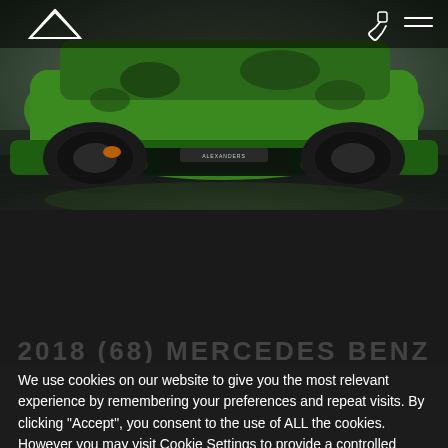[Figure (photo): Green sports car (Mercedes-Benz) rear view against dark background, showroom setting. Alexandders dealership branding visible on car.]
2018 (68) MERCEDES BENZ
We use cookies on our website to give you the most relevant experience by remembering your preferences and repeat visits. By clicking “Accept”, you consent to the use of ALL the cookies. However you may visit Cookie Settings to provide a controlled consent.
Cookie settings
ACCEPT